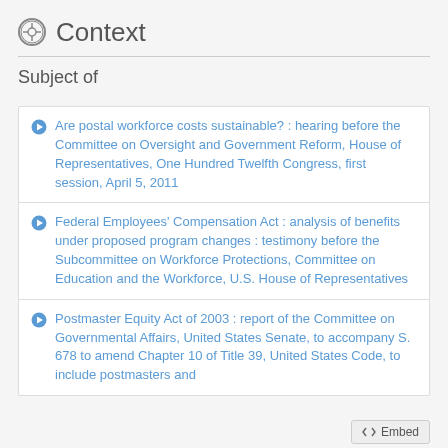Context
Subject of
Are postal workforce costs sustainable? : hearing before the Committee on Oversight and Government Reform, House of Representatives, One Hundred Twelfth Congress, first session, April 5, 2011
Federal Employees' Compensation Act : analysis of benefits under proposed program changes : testimony before the Subcommittee on Workforce Protections, Committee on Education and the Workforce, U.S. House of Representatives
Postmaster Equity Act of 2003 : report of the Committee on Governmental Affairs, United States Senate, to accompany S. 678 to amend Chapter 10 of Title 39, United States Code, to include postmasters and ...